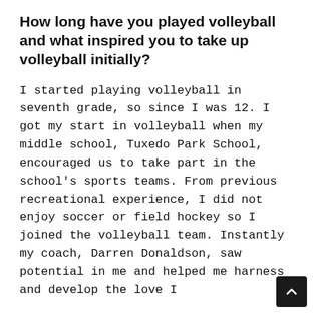How long have you played volleyball and what inspired you to take up volleyball initially?
I started playing volleyball in seventh grade, so since I was 12. I got my start in volleyball when my middle school, Tuxedo Park School, encouraged us to take part in the school's sports teams. From previous recreational experience, I did not enjoy soccer or field hockey so I joined the volleyball team. Instantly my coach, Darren Donaldson, saw potential in me and helped me harness and develop the love I